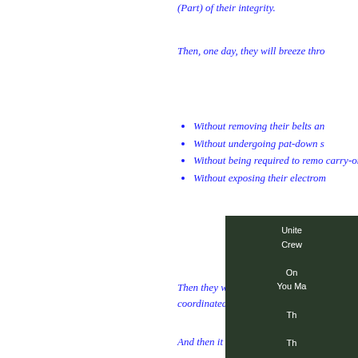(Part) of their integrity.
Then, one day, they will breeze thro
Without removing their belts an
Without undergoing pat-down s
Without being required to remo carry-ons;
Without exposing their electrom
Then they will board planes–eith coordinated one, a la 9/11.
And then it will be too late.
[Figure (photo): Dark background photo with white text reading 'Unite Crew On You Ma Th Th']